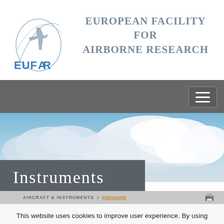EUFAR — European Facility For Airborne Research
[Figure (logo): EUFAR logo with blue text and stylized aircraft graphic]
[Figure (photo): Blue sky with white cumulus clouds, hero banner image]
Instruments
AIRCRAFT & INSTRUMENTS > Instruments
This website uses cookies to improve user experience. By using our website you consent to all cookies in accordance with our Cookie Policy.
Understood, do not show this message again.